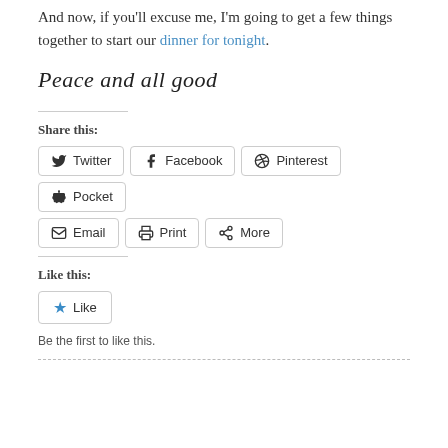And now, if you'll excuse me, I'm going to get a few things together to start our dinner for tonight.
Peace and all good
Share this:
Twitter Facebook Pinterest Pocket Email Print More
Like this:
Like
Be the first to like this.